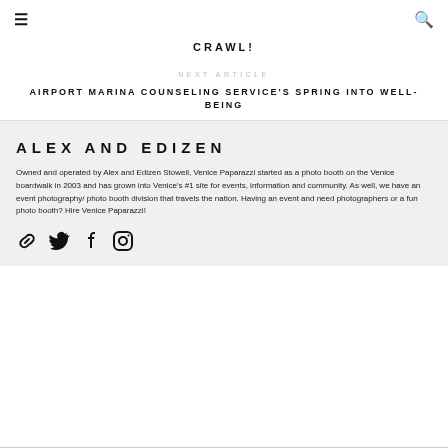≡   🔍
CRAWL!
NEXT ARTICLE
AIRPORT MARINA COUNSELING SERVICE'S SPRING INTO WELL-BEING
ALEX AND EDIZEN
Owned and operated by Alex and Edizen Stowell, Venice Paparazzi started as a photo booth on the Venice boardwalk in 2003 and has grown into Venice's #1 site for events, information and community. As well, we have an event photography/ photo booth division that travels the nation. Having an event and need photographers or a fun photo booth? Hire Venice Paparazzi!
[Figure (infographic): Row of four social media icons: chain link, Twitter bird, Facebook f, Instagram camera]